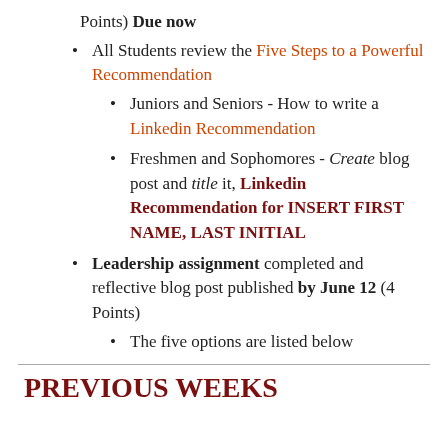Points) Due now
All Students review the Five Steps to a Powerful Recommendation
Juniors and Seniors - How to write a Linkedin Recommendation
Freshmen and Sophomores - Create blog post and title it, Linkedin Recommendation for INSERT FIRST NAME, LAST INITIAL
Leadership assignment completed and reflective blog post published by June 12 (4 Points)
The five options are listed below
PREVIOUS WEEKS